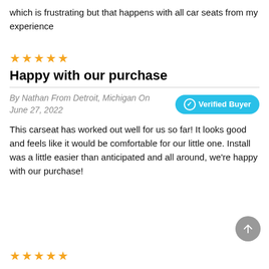which is frustrating but that happens with all car seats from my experience
[Figure (other): 5 gold star rating icons]
Happy with our purchase
By Nathan From Detroit, Michigan On June 27, 2022
Verified Buyer
This carseat has worked out well for us so far! It looks good and feels like it would be comfortable for our little one. Install was a little easier than anticipated and all around, we're happy with our purchase!
[Figure (other): 5 gold star rating icons at bottom of page]